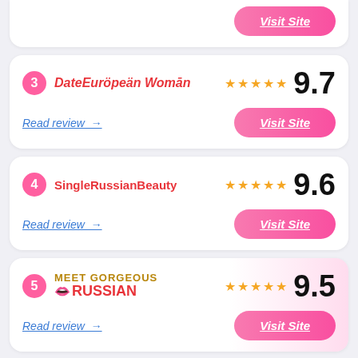[Figure (other): Partial card at top showing bottom of card 2 with Visit Site button]
3 DateEuropeanWoman — 9.7 stars — Read review → Visit Site
4 SingleRussianBeauty — 9.6 stars — Read review → Visit Site
5 MeetGorgeousRussian — 9.5 stars — Read review → Visit Site